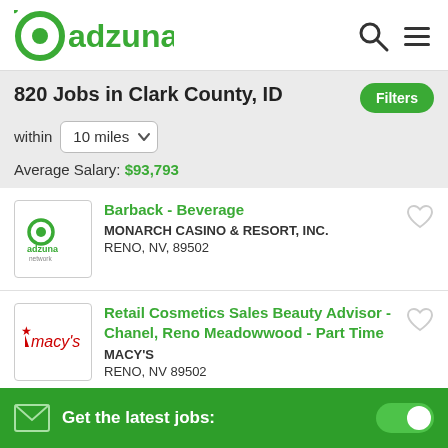adzuna
820 Jobs in Clark County, ID
within 10 miles
Average Salary: $93,793
Barback - Beverage | MONARCH CASINO & RESORT, INC. | RENO, NV, 89502
Retail Cosmetics Sales Beauty Advisor - Chanel, Reno Meadowwood - Part Time | MACY'S | RENO, NV 89502
Get the latest jobs: